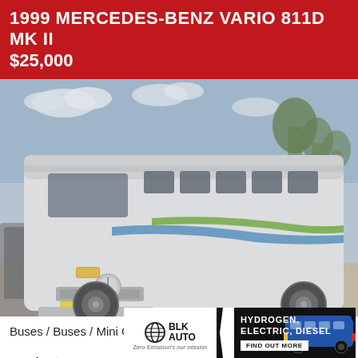1999 MERCEDES-BENZ VARIO 811D MK II
$25,000
[Figure (photo): White Mercedes-Benz Vario 811D MK II mini coach parked outdoors, showing front and side view with blue and green decorative stripes. Yellow plate visible on front. Rural setting with trees in background.]
Buses / Buses / Mini Coach
» RefCo...
» Applica...
[Figure (infographic): Advertisement banner for BLK Auto (Zero Emission's our mission) featuring Hydrogen, Electric, Diesel buses with a FIND OUT MORE button.]